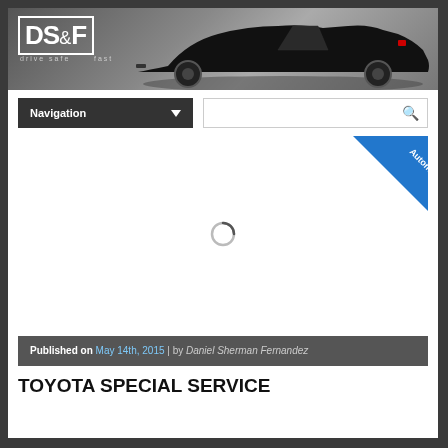[Figure (screenshot): DS&F (Drive Safe Fast) website header banner with logo and a black sports car silhouette on grey background]
[Figure (screenshot): Navigation dropdown and search bar UI elements]
[Figure (screenshot): Blue diagonal Automotive category badge in top-right corner]
[Figure (screenshot): Loading spinner (circle icon) in center of content area]
Published on May 14th, 2015 | by Daniel Sherman Fernandez
TOYOTA SPECIAL SERVICE